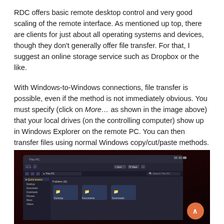RDC offers basic remote desktop control and very good scaling of the remote interface. As mentioned up top, there are clients for just about all operating systems and devices, though they don't generally offer file transfer. For that, I suggest an online storage service such as Dropbox or the like.
With Windows-to-Windows connections, file transfer is possible, even if the method is not immediately obvious. You must specify (click on More… as shown in the image above) that your local drives (on the controlling computer) show up in Windows Explorer on the remote PC. You can then transfer files using normal Windows copy/cut/paste methods. Even the network shares on the controlling computer will be available. Sweet.
[Figure (screenshot): A screenshot of Windows Explorer running on a remote desktop session. The window shows 'This PC' with folders including Desktop, Documents, and Downloads visible. The background is dark red/maroon. An orange circular back-to-top button is visible in the lower right corner.]